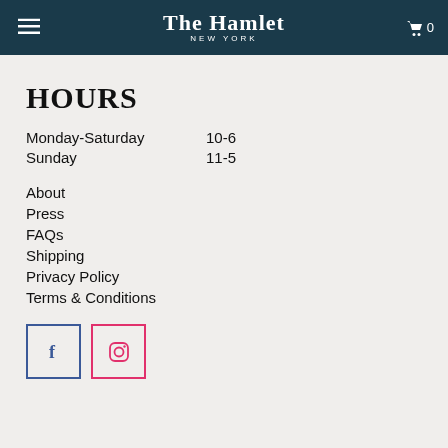The Hamlet NEW YORK
HOURS
Monday-Saturday   10-6
Sunday   11-5
About
Press
FAQs
Shipping
Privacy Policy
Terms & Conditions
[Figure (logo): Facebook icon in a blue-bordered square and Instagram icon in a pink-bordered square]